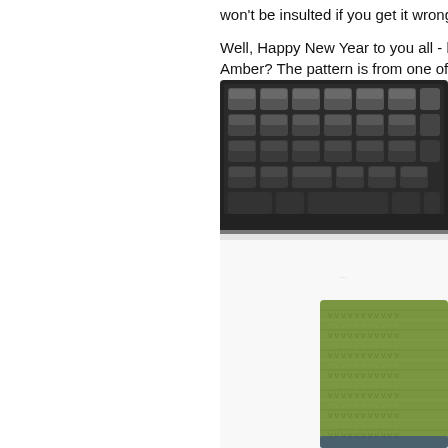won't be insulted if you get it wrong!

Well, Happy New Year to you all - by the Amber? The pattern is from one of Kristin
[Figure (photo): Close-up photo of a black computer keyboard with dark gray keys, and a green knitted fingerless glove/mitten visible in the lower right corner, placed on a white surface.]